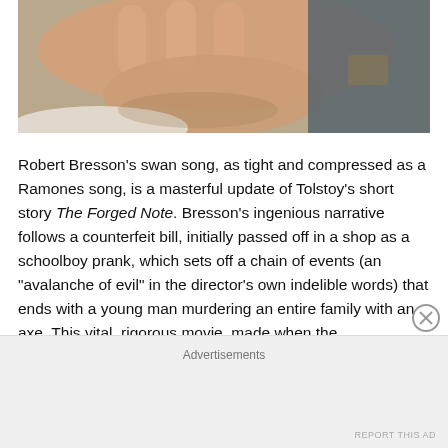[Figure (photo): Close-up of a hand with fingers spread, resting near a white surface and dark fabric/denim in the background.]
Robert Bresson’s swan song, as tight and compressed as a Ramones song, is a masterful update of Tolstoy’s short story The Forged Note. Bresson’s ingenious narrative follows a counterfeit bill, initially passed off in a shop as a schoolboy prank, which sets off a chain of events (an “avalanche of evil” in the director’s own indelible words) that ends with a young man murdering an entire family with an axe. This vital, rigorous movie, made when the
Advertisements